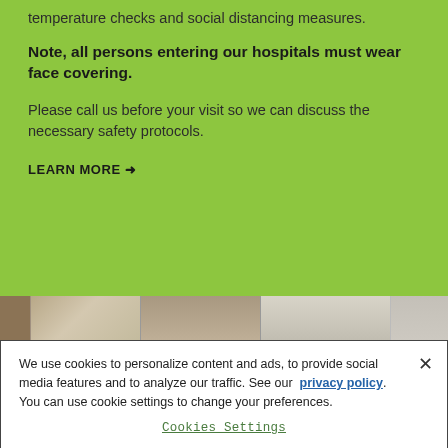temperature checks and social distancing measures.
Note, all persons entering our hospitals must wear face covering.
Please call us before your visit so we can discuss the necessary safety protocols.
LEARN MORE →
[Figure (photo): Horizontal photo strip showing hospital interior with a person and hallway scenes]
We use cookies to personalize content and ads, to provide social media features and to analyze our traffic. See our privacy policy. You can use cookie settings to change your preferences.
Cookies Settings